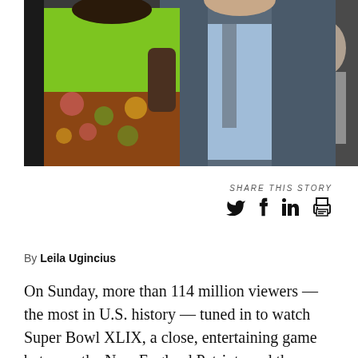[Figure (photo): Two people at an event — a woman in a bright green top and floral skirt on the left, and a man in a gray suit with a light blue shirt on the right. A third person is visible in the background on the right.]
SHARE THIS STORY
Social share icons: Twitter, Facebook, LinkedIn, Print
By Leila Ugincius
On Sunday, more than 114 million viewers — the most in U.S. history — tuned in to watch Super Bowl XLIX, a close, entertaining game between the New England Patriots and the Seattle Seahawks.